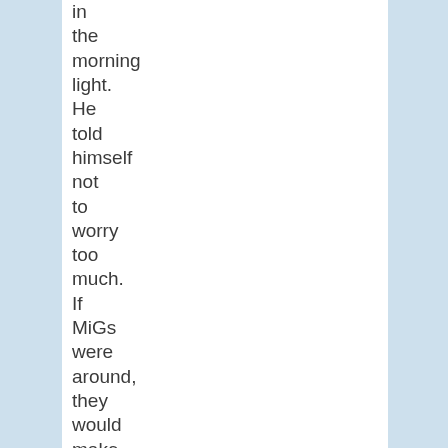in the morning light. He told himself not to worry too much. If MiGs were around, they would make their presence known with